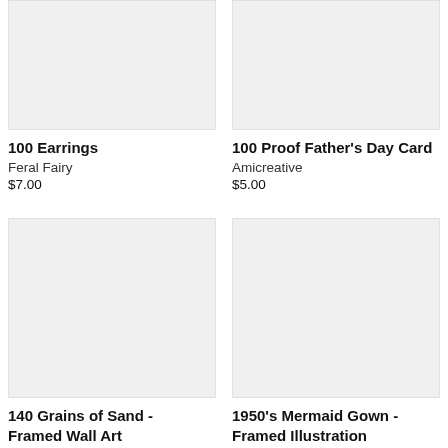[Figure (photo): Product image placeholder for 100 Earrings, light gray rectangle]
100 Earrings
Feral Fairy
$7.00
[Figure (photo): Product image placeholder for 100 Proof Father's Day Card, light gray rectangle]
100 Proof Father's Day Card
Amicreative
$5.00
[Figure (photo): Product image placeholder for 140 Grains of Sand - Framed Wall Art, light gray rectangle]
140 Grains of Sand - Framed Wall Art
[Figure (photo): Product image placeholder for 1950's Mermaid Gown - Framed Illustration, light gray rectangle]
1950's Mermaid Gown - Framed Illustration